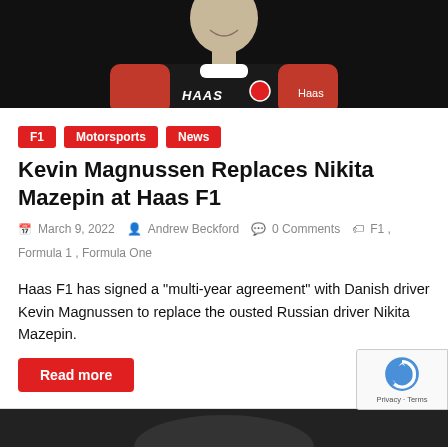[Figure (photo): Portrait photo of Kevin Magnussen in Haas F1 racing suit against black background, smiling]
F1
Motorsports
News
Kevin Magnussen Replaces Nikita Mazepin at Haas F1
March 9, 2022  Andrew Beckford  0 Comments  F1, Formula 1, Formula One
Haas F1 has signed a “multi-year agreement” with Danish driver Kevin Magnussen to replace the ousted Russian driver Nikita Mazepin.
Read more
[Figure (photo): Partial photo at bottom of page, dark background with partial view of a racing element]